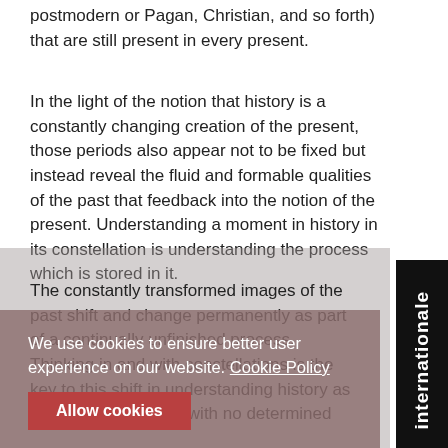postmodern or Pagan, Christian, and so forth) that are still present in every present.
In the light of the notion that history is a constantly changing creation of the present, those periods also appear not to be fixed but instead reveal the fluid and formable qualities of the past that feedback into the notion of the present. Understanding a moment in history in its constellation is understanding the process which is stored in it.
The constantly transformed images of the past shift and change permanently as part of a continually unfinished process. Thinking in and with constellations is the key to this shift in understanding history as an ongoing process, with no determined
We use cookies to ensure better user experience on our website. Cookie Policy
Allow cookies
[Figure (other): Vertical sidebar on the right edge with black background and white rotated text reading 'internationale']